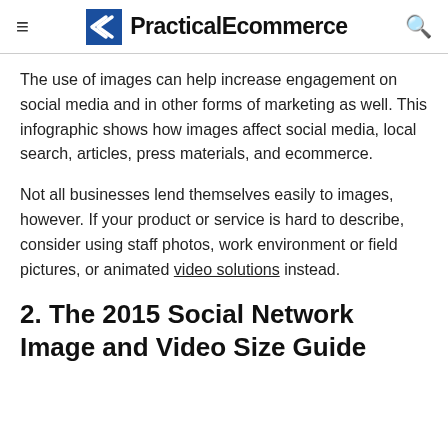PracticalEcommerce
The use of images can help increase engagement on social media and in other forms of marketing as well. This infographic shows how images affect social media, local search, articles, press materials, and ecommerce.
Not all businesses lend themselves easily to images, however. If your product or service is hard to describe, consider using staff photos, work environment or field pictures, or animated video solutions instead.
2. The 2015 Social Network Image and Video Size Guide